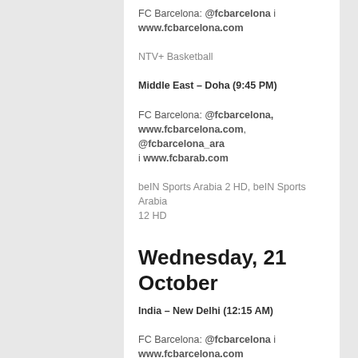FC Barcelona: @fcbarcelona i www.fcbarcelona.com
NTV+ Basketball
Middle East – Doha (9:45 PM)
FC Barcelona: @fcbarcelona, www.fcbarcelona.com, @fcbarcelona_ara i www.fcbarab.com
beIN Sports Arabia 2 HD, beIN Sports Arabia 12 HD
Wednesday, 21 October
India – New Delhi (12:15 AM)
FC Barcelona: @fcbarcelona i www.fcbarcelona.com